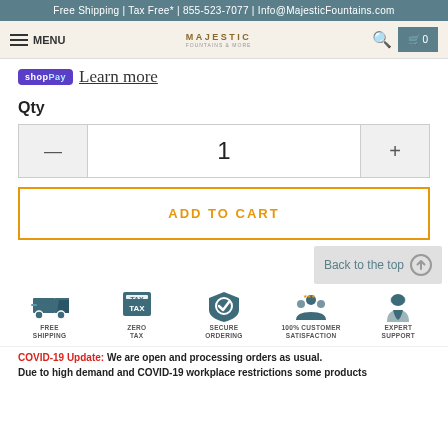Free Shipping | Tax Free* | 855-523-7077 | Info@MajesticFountains.com
shop Pay  Learn more
Qty
1
ADD TO CART
Back to the top
[Figure (infographic): Five trust badges: FREE SHIPPING (truck icon), ZERO TAX (tax shield), SECURE ORDERING (shield with check), 100% CUSTOMER SATISFACTION (group icon), EXPERT SUPPORT (hands icon)]
COVID-19 Update: We are open and processing orders as usual.
Due to high demand and COVID-19 workplace restrictions some products